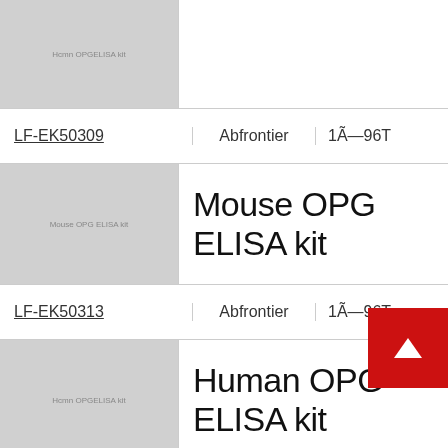[Figure (photo): Partial product image (cropped top), Human OPG ELISA kit placeholder image in gray]
| Product ID | Vendor | Size |
| --- | --- | --- |
| LF-EK50309 | Abfrontier | 1Ã—96T |
Mouse OPG ELISA kit
[Figure (photo): Mouse OPG ELISA kit placeholder image in gray]
| Product ID | Vendor | Size |
| --- | --- | --- |
| LF-EK50313 | Abfrontier | 1Ã—96T |
Human OPG ELISA kit
[Figure (photo): Human OPG ELISA kit placeholder image in gray]
| Product ID | Vendor | Size |
| --- | --- | --- |
| 55R-1664 | Fitzgerald | kit |
Description: ELISA kit for the detection of OPG in the laboratory